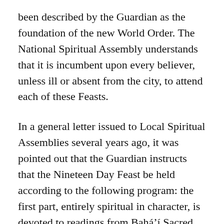been described by the Guardian as the foundation of the new World Order. The National Spiritual Assembly understands that it is incumbent upon every believer, unless ill or absent from the city, to attend each of these Feasts.
In a general letter issued to Local Spiritual Assemblies several years ago, it was pointed out that the Guardian instructs that the Nineteen Day Feast be held according to the following program: the first part, entirely spiritual in character, is devoted to readings from Bahá'í Sacred Writings; the second part consists of general consultation on the affairs of the Cause, at which time the Local Spiritual Assembly reports its activities to the community, asks for